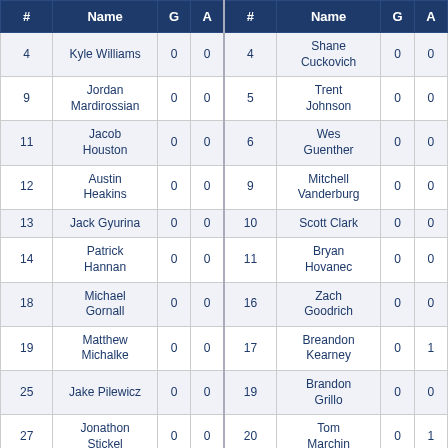| # | Name | G | A | # | Name | G | A |
| --- | --- | --- | --- | --- | --- | --- | --- |
| 4 | Kyle Williams | 0 | 0 | 4 | Shane Cuckovich | 0 | 0 |
| 9 | Jordan Mardirossian | 0 | 0 | 5 | Trent Johnson | 0 | 0 |
| 11 | Jacob Houston | 0 | 0 | 6 | Wes Guenther | 0 | 0 |
| 12 | Austin Heakins | 0 | 0 | 9 | Mitchell Vanderburg | 0 | 0 |
| 13 | Jack Gyurina | 0 | 0 | 10 | Scott Clark | 0 | 0 |
| 14 | Patrick Hannan | 0 | 0 | 11 | Bryan Hovanec | 0 | 0 |
| 18 | Michael Gornall | 0 | 0 | 16 | Zach Goodrich | 0 | 0 |
| 19 | Matthew Michalke | 0 | 0 | 17 | Breandon Kearney | 0 | 1 |
| 25 | Jake Pilewicz | 0 | 0 | 19 | Brandon Grillo | 0 | 0 |
| 27 | Jonathon Stickel | 0 | 0 | 20 | Tom Marchin | 0 | 1 |
|  |  |  |  |  | Brian |  |  |